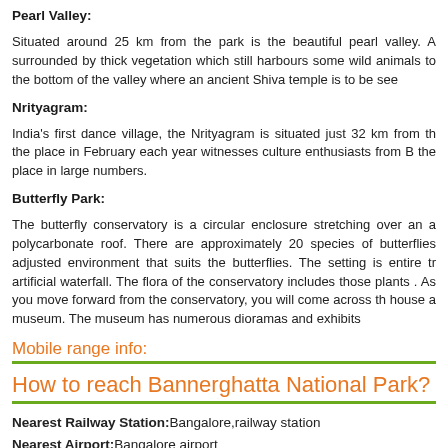Pearl Valley:
Situated around 25 km from the park is the beautiful pearl valley. A surrounded by thick vegetation which still harbours some wild animals to the bottom of the valley where an ancient Shiva temple is to be see
Nrityagram:
India's first dance village, the Nrityagram is situated just 32 km from th the place in February each year witnesses culture enthusiasts from B the place in large numbers.
Butterfly Park:
The butterfly conservatory is a circular enclosure stretching over an a polycarbonate roof. There are approximately 20 species of butterflies adjusted environment that suits the butterflies. The setting is entire tr artificial waterfall. The flora of the conservatory includes those plants . As you move forward from the conservatory, you will come across th house a museum. The museum has numerous dioramas and exhibits
Mobile range info:
How to reach Bannerghatta National Park?
Nearest Railway Station:Bangalore,railway station
Nearest Airport:Bangalore airport
Road Transport:The Bangalore one can get a car or bus to Bannergh
Nearest Visiting places in Bannerghatta National